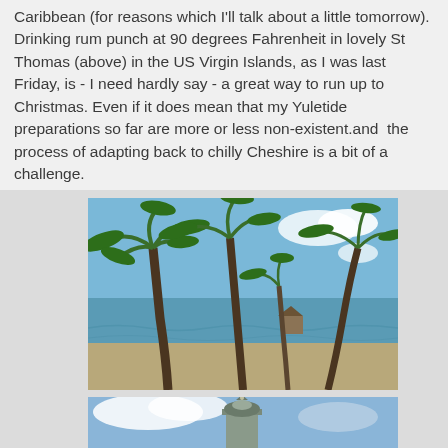Caribbean (for reasons which I'll talk about a little tomorrow). Drinking rum punch at 90 degrees Fahrenheit in lovely St Thomas (above) in the US Virgin Islands, as I was last Friday, is - I need hardly say - a great way to run up to Christmas. Even if it does mean that my Yuletide preparations so far are more or less non-existent.and  the process of adapting back to chilly Cheshire is a bit of a challenge.
[Figure (photo): A tropical beach scene with tall palm trees in the foreground, sandy ground, and calm blue ocean water visible in the background under a clear blue sky.]
[Figure (photo): Partial view of a lighthouse or tower structure against a cloudy blue sky.]